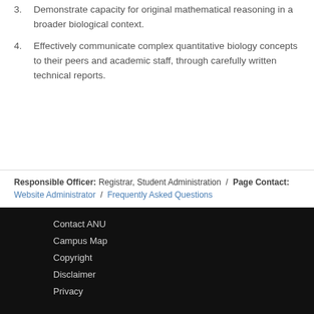3. Demonstrate capacity for original mathematical reasoning in a broader biological context.
4. Effectively communicate complex quantitative biology concepts to their peers and academic staff, through carefully written technical reports.
Responsible Officer: Registrar, Student Administration / Page Contact: Website Administrator / Frequently Asked Questions
Contact ANU
Campus Map
Copyright
Disclaimer
Privacy